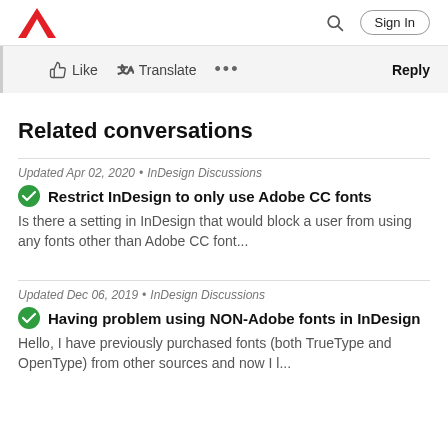Adobe | Sign In
Like   Translate   ...   Reply
Related conversations
Updated Apr 02, 2020 • InDesign Discussions
Restrict InDesign to only use Adobe CC fonts
Is there a setting in InDesign that would block a user from using any fonts other than Adobe CC font...
Updated Dec 06, 2019 • InDesign Discussions
Having problem using NON-Adobe fonts in InDesign
Hello, I have previously purchased fonts (both TrueType and OpenType) from other sources and now I l...